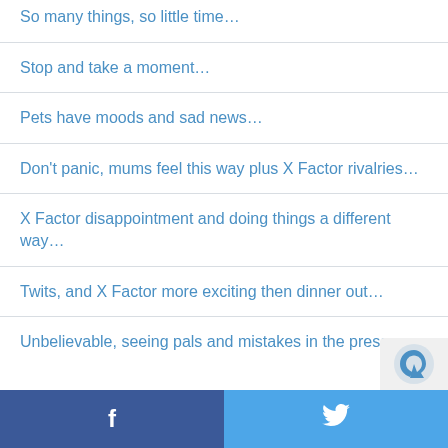So many things, so little time…
Stop and take a moment…
Pets have moods and sad news…
Don't panic, mums feel this way plus X Factor rivalries…
X Factor disappointment and doing things a different way…
Twits, and X Factor more exciting then dinner out…
Unbelievable, seeing pals and mistakes in the press,